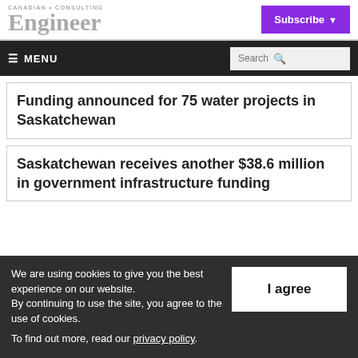CANADIAN CONSULTING Engineer
Subscribe
≡ MENU  Search
Funding announced for 75 water projects in Saskatchewan
Saskatchewan receives another $38.6 million in government infrastructure funding
We are using cookies to give you the best experience on our website. By continuing to use the site, you agree to the use of cookies. To find out more, read our privacy policy.